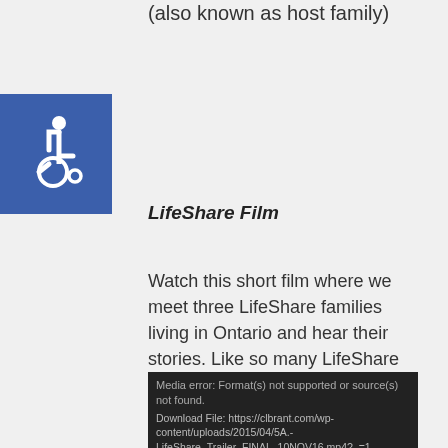(also known as host family)
[Figure (illustration): Accessibility icon — white wheelchair symbol on blue square background]
LifeShare Film
Watch this short film where we meet three LifeShare families living in Ontario and hear their stories. Like so many LifeShare participants, these families have created a unique bond between the home sharer and home provider.
[Figure (screenshot): Video player showing media error: Format(s) not supported or source(s) not found. Download File: https://clbrant.com/wp-content/uploads/2015/04/5A.-LifeShare_Trailer_FINAL_10NOV16.mp4?_=1]